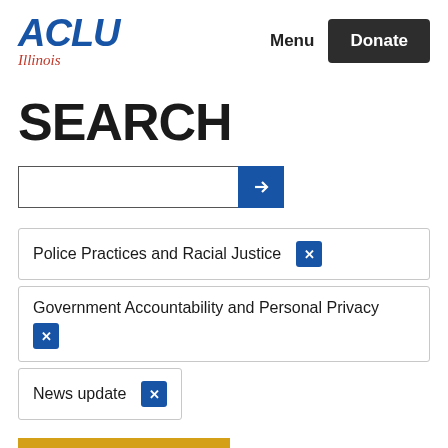ACLU Illinois | Menu | Donate
SEARCH
[Figure (other): Search input field with blue arrow submit button]
Police Practices and Racial Justice ×
Government Accountability and Personal Privacy ×
News update ×